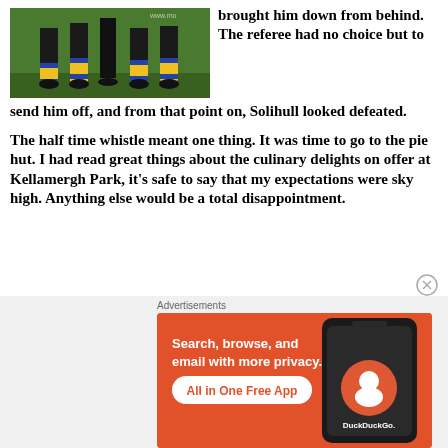[Figure (photo): Photo of football players legs wearing yellow and blue striped socks on a grass pitch]
brought him down from behind. The referee had no choice but to send him off, and from that point on, Solihull looked defeated.
The half time whistle meant one thing. It was time to go to the pie hut. I had read great things about the culinary delights on offer at Kellamergh Park, it's safe to say that my expectations were sky high. Anything else would be a total disappointment.
[Figure (screenshot): DuckDuckGo advertisement banner with orange background. Text: Search, browse, and email with more privacy. All in One Free App. Shows a smartphone with DuckDuckGo logo.]